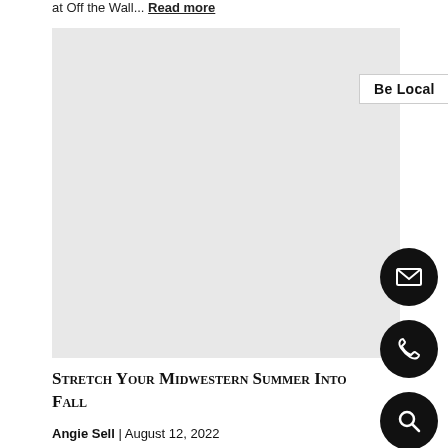at Off the Wall... Read more
[Figure (photo): A large light gray placeholder image with a 'Be Local' badge in the upper right corner]
Stretch Your Midwestern Summer Into Fall
Angie Sell | August 12, 2022